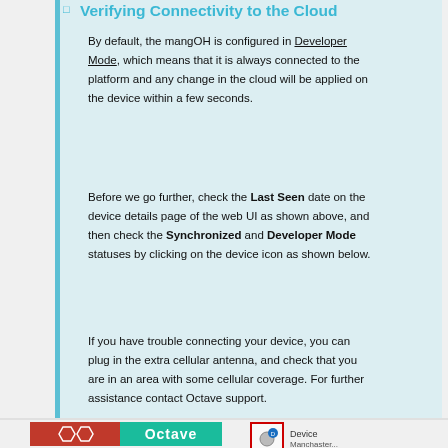Verifying Connectivity to the Cloud
By default, the mangOH is configured in Developer Mode, which means that it is always connected to the platform and any change in the cloud will be applied on the device within a few seconds.
Before we go further, check the Last Seen date on the device details page of the web UI as shown above, and then check the Synchronized and Developer Mode statuses by clicking on the device icon as shown below.
If you have trouble connecting your device, you can plug in the extra cellular antenna, and check that you are in an area with some cellular coverage. For further assistance contact Octave support.
[Figure (logo): Octave logo with red and teal background]
[Figure (screenshot): Device icon with D badge and Device label]